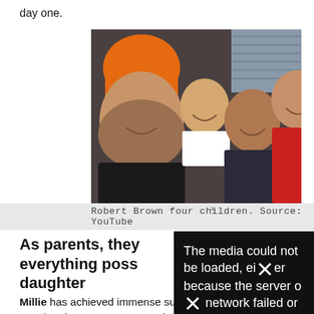day one.
[Figure (photo): A selfie photo of four people including a teenage girl wearing an orange beanie hat, a young girl, a woman, and a young man in a red hoodie, all smiling.]
Robert Brown four children. Source: YouTube
As parents, they everything poss daughter
The media could not be loaded, either because the server or network failed or because the
Millie has achieved immense success at a very young age, but the success was not her alone but